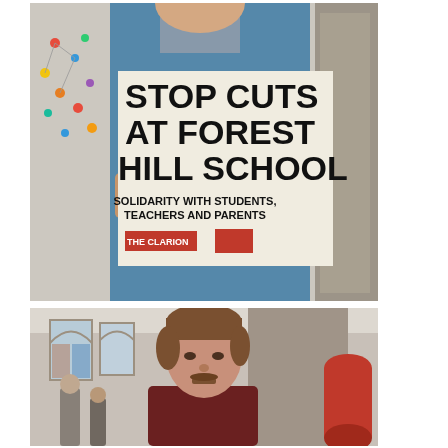[Figure (photo): Person in blue jacket and grey scarf holding a protest sign that reads 'STOP CUTS AT FOREST HILL SCHOOL - SOLIDARITY WITH STUDENTS, TEACHERS AND PARENTS' with The Clarion logo at the bottom]
[Figure (photo): Young man with brown hair and beard standing indoors in a room with arched stained glass windows visible in the background]